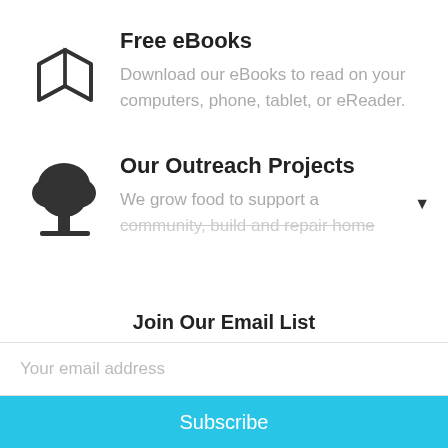[Figure (illustration): Open book icon, outline style, dark gray]
Free eBooks
Download our eBooks to read on your computers, phone, tablet, or eReader.
[Figure (illustration): Tree icon, silhouette style, dark gray]
Our Outreach Projects
We grow food to support a community, build and repair home
Join Our Email List
Your email address
Subscribe